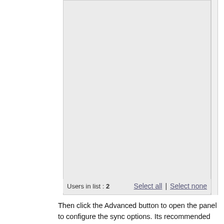[Figure (screenshot): A light gray panel/list area (empty content) representing a user selection interface. At the bottom it shows 'Users in list : 2' on the left and 'Select all | Select none' links on the right.]
Then click the Advanced button to open the panel to configure the sync options. Its recommended to do at least 3 revisions. If a conflicting edit was done on the same file by two people, it uses the revisions to pull